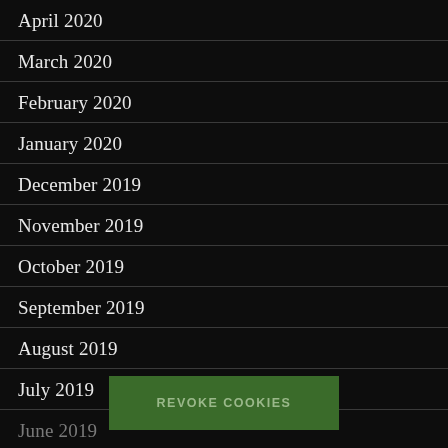April 2020
March 2020
February 2020
January 2020
December 2019
November 2019
October 2019
September 2019
August 2019
July 2019
June 2019
May 2019
REVOKE COOKIES